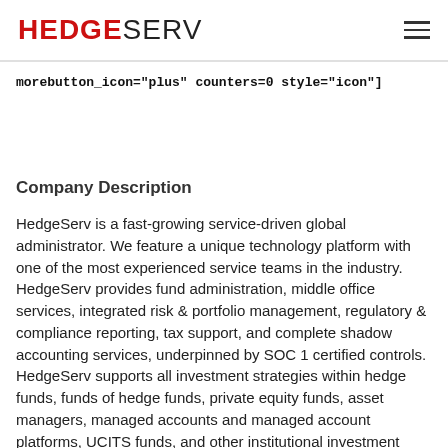HEDGESERV
morebutton_icon="plus" counters=0 style="icon"]
Company Description
HedgeServ is a fast-growing service-driven global administrator. We feature a unique technology platform with one of the most experienced service teams in the industry. HedgeServ provides fund administration, middle office services, integrated risk & portfolio management, regulatory & compliance reporting, tax support, and complete shadow accounting services, underpinned by SOC 1 certified controls. HedgeServ supports all investment strategies within hedge funds, funds of hedge funds, private equity funds, asset managers, managed accounts and managed account platforms, UCITS funds, and other institutional investment programs such as pensions and endowments. Our services are completely customized for the needs of our individual hedge fund, fund of hedge funds and private equity fund clients. HedgeServ has a presence of top-level globally...